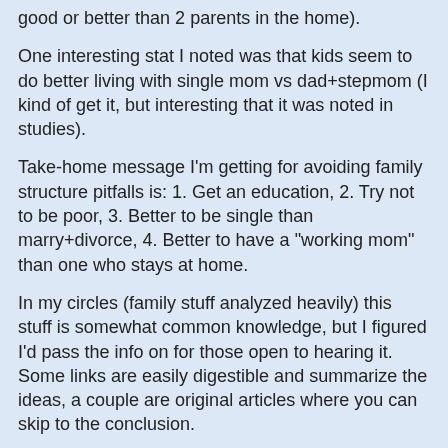good or better than 2 parents in the home).
One interesting stat I noted was that kids seem to do better living with single mom vs dad+stepmom (I kind of get it, but interesting that it was noted in studies).
Take-home message I'm getting for avoiding family structure pitfalls is: 1. Get an education, 2. Try not to be poor, 3. Better to be single than marry+divorce, 4. Better to have a "working mom" than one who stays at home.
In my circles (family stuff analyzed heavily) this stuff is somewhat common knowledge, but I figured I'd pass the info on for those open to hearing it.  Some links are easily digestible and summarize the ideas, a couple are original articles where you can skip to the conclusion.
If you don't buy it, you don't have to.  It is what it is.
https://nypost.com/2017/03/14/children-of-single-parents-grow-up-just-as-successful-as-peers/
https://www.sciencedaily.com/releases/2017/07/170705095332.htm
https://scholar.utc.edu/cgi/viewcontent.cgi?article=1329&context=mps
https://www.psychologytoday.com/us/blog/living-